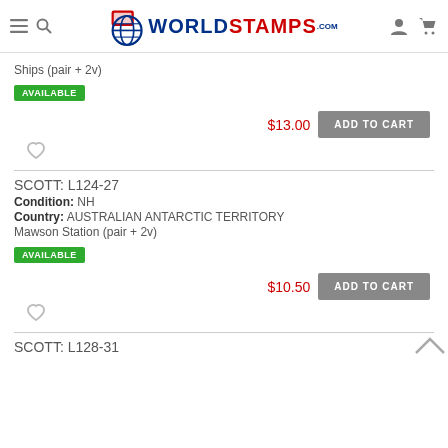WorldStamps.com
Ships (pair + 2v)
AVAILABLE
$13.00  ADD TO CART
SCOTT: L124-27
Condition: NH
Country: AUSTRALIAN ANTARCTIC TERRITORY
Mawson Station (pair + 2v)
AVAILABLE
$10.50  ADD TO CART
SCOTT: L128-31